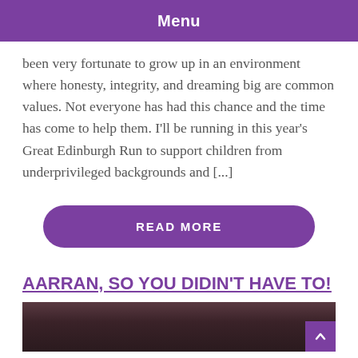Menu
been very fortunate to grow up in an environment where honesty, integrity, and dreaming big are common values. Not everyone has had this chance and the time has come to help them. I'll be running in this year's Great Edinburgh Run to support children from underprivileged backgrounds and [...]
READ MORE
AARRAN, SO YOU DIDIN'T HAVE TO!
[Figure (photo): Close-up photo of a person's face, dark background]